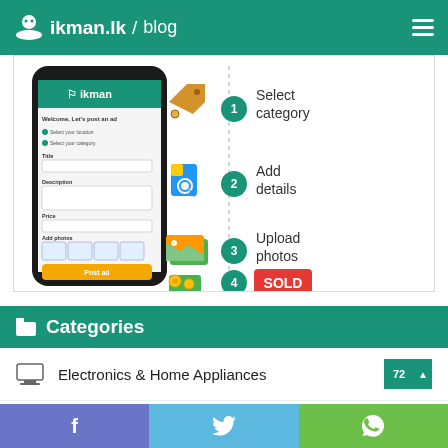ikman.lk/blog
[Figure (infographic): Infographic showing steps to post an ad on ikman app: 1. Select category (tag icon), 2. Add details (document search icon), 3. Upload photos (image icon), 4. Sold (sold badge icon). Left side shows a smartphone mockup with ikman app open on 'Welcome, Let's post an ad' screen with fields for Title, Description, Price, Add photos, and a yellow Post ad button.]
Categories
Electronics & Home Appliances
f  (Facebook share)  |  Twitter share  |  WhatsApp share